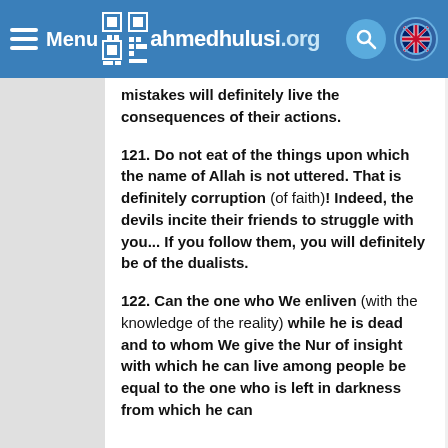Menu ahmedhulusi.org
mistakes will definitely live the consequences of their actions.
121. Do not eat of the things upon which the name of Allah is not uttered. That is definitely corruption (of faith)! Indeed, the devils incite their friends to struggle with you... If you follow them, you will definitely be of the dualists.
122. Can the one who We enliven (with the knowledge of the reality) while he is dead and to whom We give the Nur of insight with which he can live among people be equal to the one who is left in darkness from which he can